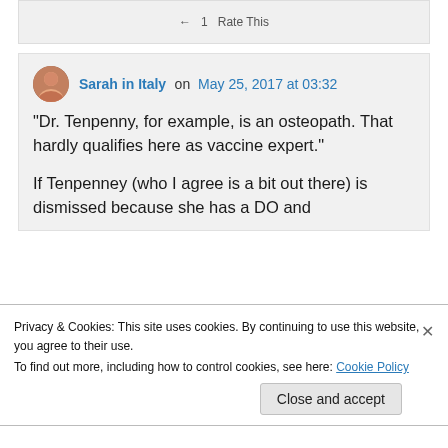← 1 Rate This
Sarah in Italy on May 25, 2017 at 03:32
“Dr. Tenpenny, for example, is an osteopath. That hardly qualifies here as vaccine expert.”

If Tenpenney (who I agree is a bit out there) is dismissed because she has a DO and
Privacy & Cookies: This site uses cookies. By continuing to use this website, you agree to their use.
To find out more, including how to control cookies, see here: Cookie Policy
Close and accept